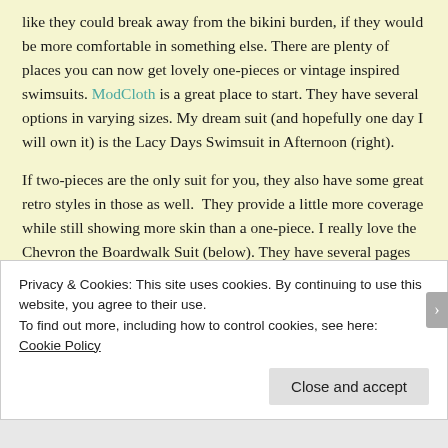like they could break away from the bikini burden, if they would be more comfortable in something else. There are plenty of places you can now get lovely one-pieces or vintage inspired swimsuits. ModCloth is a great place to start. They have several options in varying sizes. My dream suit (and hopefully one day I will own it) is the Lacy Days Swimsuit in Afternoon (right).
If two-pieces are the only suit for you, they also have some great retro styles in those as well. They provide a little more coverage while still showing more skin than a one-piece. I really love the Chevron the Boardwalk Suit (below). They have several pages of suits to chose from that would suit most anyone's needs. There are different styles, colors, patterns,
Privacy & Cookies: This site uses cookies. By continuing to use this website, you agree to their use.
To find out more, including how to control cookies, see here:
Cookie Policy
Close and accept